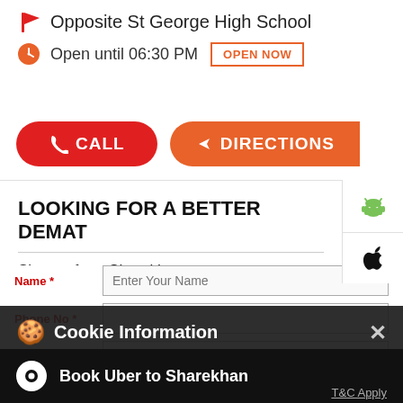Opposite St George High School
Open until 06:30 PM  OPEN NOW
CALL
DIRECTIONS
LOOKING FOR A BETTER DEMAT
Sign up for a Sharekhan account.
Cookie Information
On our website, we use services (including from third-party providers) that help us to improve our online presence (optimization of website) and to display content that is geared to their interests. We need your consent before being able to use these services.
Book Uber to Sharekhan
T&C Apply